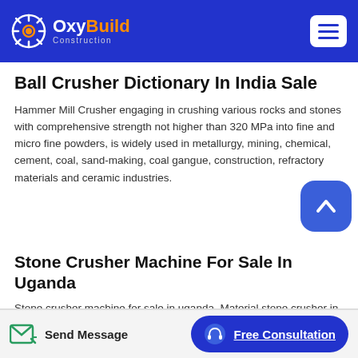OxyBuild Construction
Ball Crusher Dictionary In India Sale
Hammer Mill Crusher engaging in crushing various rocks and stones with comprehensive strength not higher than 320 MPa into fine and micro fine powders, is widely used in metallurgy, mining, chemical, cement, coal, sand-making, coal gangue, construction, refractory materials and ceramic industries.
Stone Crusher Machine For Sale In Uganda
Stone crusher machine for sale in uganda. Material stone crusher in uganda jaw crusher is a kind of stone crusher and jaw crusher is also called rock crusher a ball mill a type of grinder is a cylindrical device used in grinding or mixing materials like ores chemicals ceramic raw
Send Message | Free Consultation